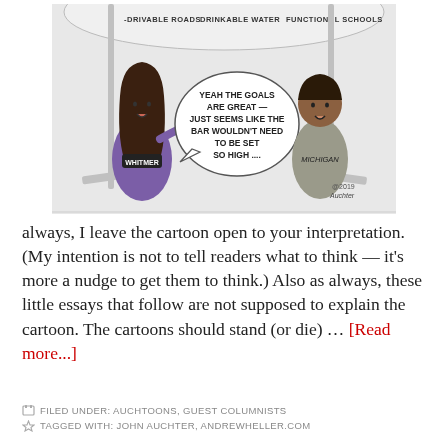[Figure (illustration): Political cartoon showing two figures on hockey sticks (like a hockey game face-off). On the left is a figure labeled 'WHITMER' in a dark jacket. On the right is a figure labeled 'MICHIGAN'. Above them is a banner with the words 'DRIVABLE ROADS', 'DRINKABLE WATER', 'FUNCTIONAL SCHOOLS'. The left figure has a speech bubble saying 'YEAH THE GOALS ARE GREAT — JUST SEEMS LIKE THE BAR WOULDN'T NEED TO BE SET SO HIGH ....' Copyright 2019, signed by artist.]
always, I leave the cartoon open to your interpretation. (My intention is not to tell readers what to think — it's more a nudge to get them to think.) Also as always, these little essays that follow are not supposed to explain the cartoon. The cartoons should stand (or die) … [Read more...]
FILED UNDER: AUCHTOONS, GUEST COLUMNISTS
TAGGED WITH: JOHN AUCHTER, ANDREWHELLER.COM